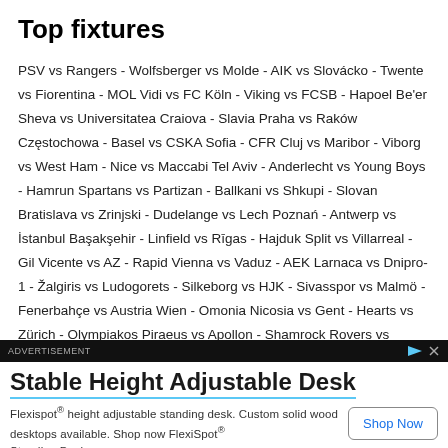Top fixtures
PSV vs Rangers - Wolfsberger vs Molde - AIK vs Slovácko - Twente vs Fiorentina - MOL Vidi vs FC Köln - Viking vs FCSB - Hapoel Be'er Sheva vs Universitatea Craiova - Slavia Praha vs Raków Częstochowa - Basel vs CSKA Sofia - CFR Cluj vs Maribor - Viborg vs West Ham - Nice vs Maccabi Tel Aviv - Anderlecht vs Young Boys - Hamrun Spartans vs Partizan - Ballkani vs Shkupi - Slovan Bratislava vs Zrinjski - Dudelange vs Lech Poznań - Antwerp vs İstanbul Başakşehir - Linfield vs Rīgas - Hajduk Split vs Villarreal - Gil Vicente vs AZ - Rapid Vienna vs Vaduz - AEK Larnaca vs Dnipro-1 - Žalgiris vs Ludogorets - Silkeborg vs HJK - Sivasspor vs Malmö - Fenerbahçe vs Austria Wien - Omonia Nicosia vs Gent - Hearts vs Zürich - Olympiakos Piraeus vs Apollon - Shamrock Rovers vs Ferencváros
ADVERTISEMENT
Stable Height Adjustable Desk
Flexispot® height adjustable standing desk. Custom solid wood desktops available. Shop now FlexiSpot® Standing Desk